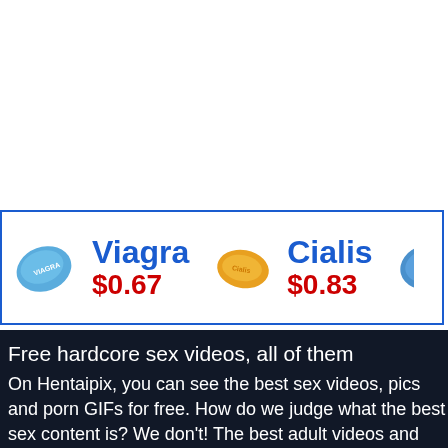[Figure (infographic): Pharmaceutical advertisement banner showing Viagra pill (blue, $0.67), Cialis pill (yellow/gold, $0.83), and a third partially visible blue pill with price starting $0]
Free hardcore sex videos, all of them
On Hentaipix, you can see the best sex videos, pics and porn GIFs for free. How do we judge what the best sex content is? We don't! The best adult videos and pictures producers make sure to post and pin their best